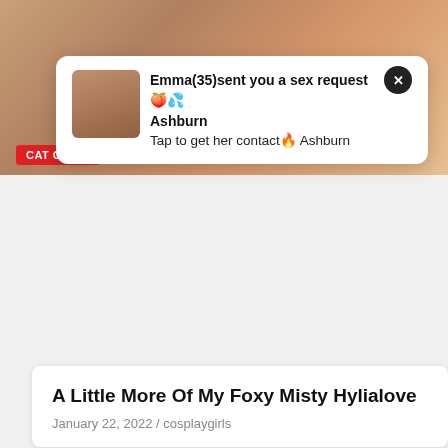[Figure (photo): Top banner image showing cosplay/cat girls content with red badge label CAT GIRLS]
Emma(35)sent you a sex request 🍑 💦 Ashburn
Tap to get her contact 🔥 Ashburn
A Little More Of My Foxy Misty Hylialove
January 22, 2022 / cosplaygirls
[Figure (photo): Flirt4Free advertisement showing blonde woman in red lingerie with FLIRT4FREE logo watermark]